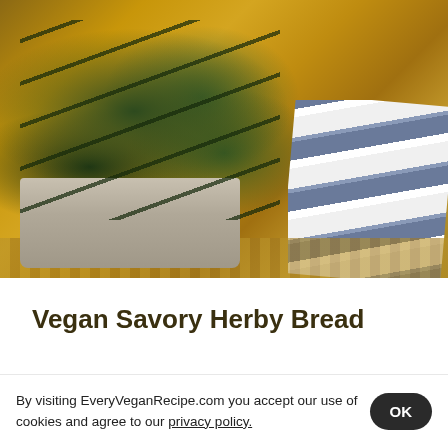[Figure (photo): A loaf of vegan savory herby bread in a white/silver loaf pan, with visible dark green herb filling between the pull-apart sections, sitting on a woven basket mat. A blue and white striped kitchen towel is visible on the right side.]
Vegan Savory Herby Bread
By visiting EveryVeganRecipe.com you accept our use of cookies and agree to our privacy policy.